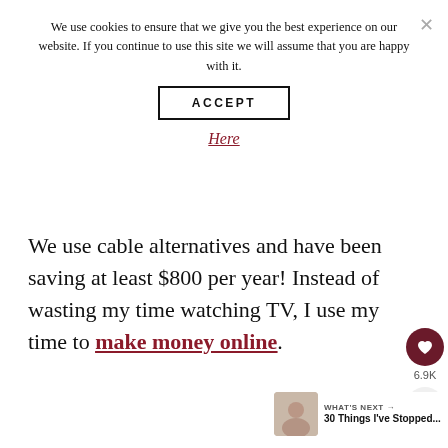We use cookies to ensure that we give you the best experience on our website. If you continue to use this site we will assume that you are happy with it.
ACCEPT
Here
We use cable alternatives and have been saving at least $800 per year! Instead of wasting my time watching TV, I use my time to make money online.